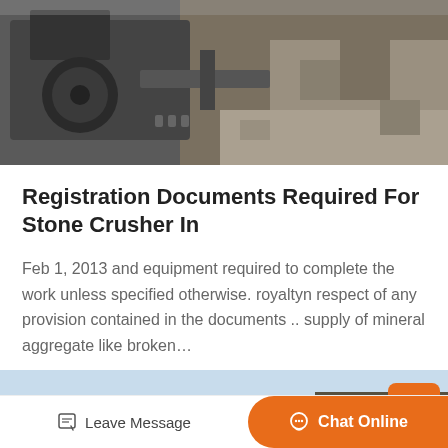[Figure (photo): Aerial/close-up view of stone crusher industrial machinery and construction site with heavy equipment]
Registration Documents Required For Stone Crusher In
Feb 1, 2013 and equipment required to complete the work unless specified otherwise. royaltyn respect of any provision contained in the documents .. supply of mineral aggregate like broken…
Get Price  >
[Figure (photo): Industrial building/tower structure against blue sky with construction site]
Leave Message   Chat Online